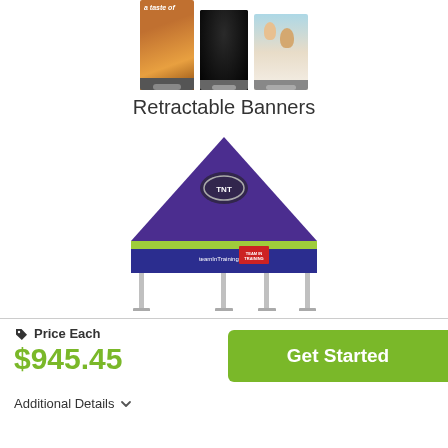[Figure (photo): Three retractable banner stands partially visible at top of page]
Retractable Banners
[Figure (photo): A large branded event tent/canopy with purple and green colors, Team in Training branding, shown with metal frame legs]
Price Each
$945.45
Get Started
Additional Details